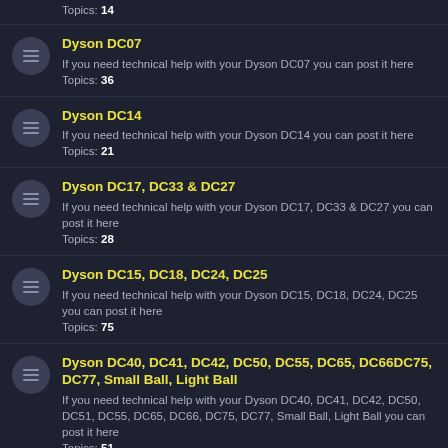Topics: 14
Dyson DC07 — If you need technical help with your Dyson DC07 you can post it here. Topics: 36
Dyson DC14 — If you need technical help with your Dyson DC14 you can post it here. Topics: 21
Dyson DC17, DC33 & DC27 — If you need technical help with your Dyson DC17, DC33 & DC27 you can post it here. Topics: 28
Dyson DC15, DC18, DC24, DC25 — If you need technical help with your Dyson DC15, DC18, DC24, DC25 you can post it here. Topics: 75
Dyson DC40, DC41, DC42, DC50, DC55, DC65, DC66DC75, DC77, Small Ball, Light Ball — If you need technical help with your Dyson DC40, DC41, DC42, DC50, DC51, DC55, DC65, DC66, DC75, DC77, Small Ball, Light Ball you can post it here. Topics: 51
Dyson DC05, DC08, DC11, DC19, DC20, DC21, DC22, DC23, DC32 — If you need technical help with your Dyson DC05, DC08, DC11, DC19, DC20, DC21, DC22, DC23, DC32 you can post it here. Topics: 56